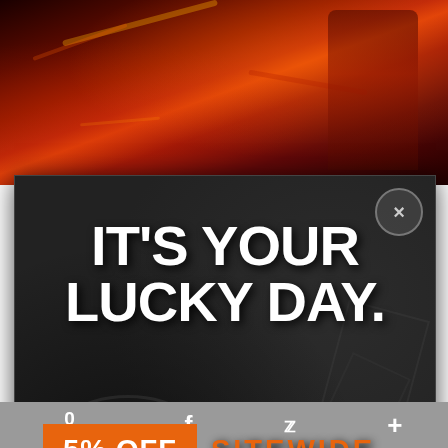[Figure (photo): Top portion of webpage showing action figure/superhero image in red tones — partially cropped]
[Figure (screenshot): Popup modal overlay with dark background showing promotional offer: IT'S YOUR LUCKY DAY. 5% OFF SITEWIDE USE CODE: LUCKY5 with close button (X) in upper right and mail button lower right]
IT'S YOUR LUCKY DAY.
5% OFF SITEWIDE
USE CODE: LUCKY5
0 SHARES  [Facebook]  [Twitter]  [Plus]